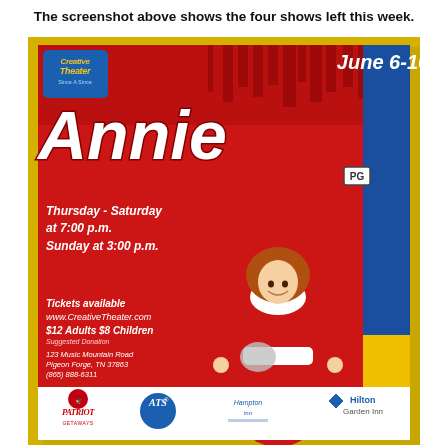The screenshot above shows the four shows left this week.
[Figure (photo): Photo of Annie musical promotional poster featuring a young girl dressed as Annie in a red dress with curly red hair. The poster reads: Creative Theater, June 6-16, Annie, PG, Thursday - Saturday at 7:00 p.m. Sunday at 3:00 p.m., Tickets available www.CreativeTheater.com, $12 Adults $8 Children, Suggested Donation, 123 Music Mountain Road, Pigeon Forge, TN 37863, (865) 888-6311. Sponsor logos at bottom: Patriot Getaways, ATS, Hampton Inn, Hilton Garden Inn.]